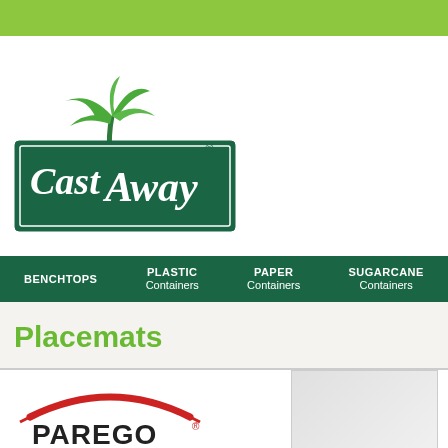[Figure (logo): Green top banner bar]
[Figure (logo): Cast Away brand logo — dark green rectangular banner with white script text 'Cast Away' and a palm tree graphic, registered trademark symbol]
[Figure (infographic): Dark green navigation bar with four menu items: BENCHTOPS, PLASTIC Containers, PAPER Containers, SUGARCANE Containers]
Placemats
[Figure (logo): Parego brand logo — red arc/swoosh above text PAREGO with registered trademark symbol]
[Figure (photo): Product image — light gray/white rectangular placemat product photo]